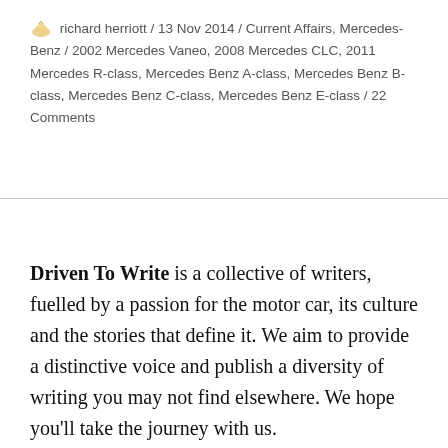richard herriott / 13 Nov 2014 / Current Affairs, Mercedes-Benz / 2002 Mercedes Vaneo, 2008 Mercedes CLC, 2011 Mercedes R-class, Mercedes Benz A-class, Mercedes Benz B-class, Mercedes Benz C-class, Mercedes Benz E-class / 22 Comments
Driven To Write is a collective of writers, fuelled by a passion for the motor car, its culture and the stories that define it. We aim to provide a distinctive voice and publish a diversity of writing you may not find elsewhere. We hope you'll take the journey with us.